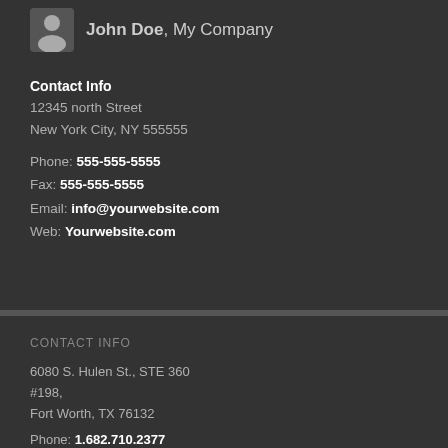John Doe, My Company
Contact Info
12345 north Street
New York City, NY 555555
Phone: 555-555-5555
Fax: 555-555-5555
Email: info@yourwebsite.com
Web: Yourwebsite.com
CONTACT INFO
6080 S. Hulen St., STE 360
#198,
Fort Worth, TX 76132
Phone: 1.682.710.2377
Email: sales@burmstarp.com